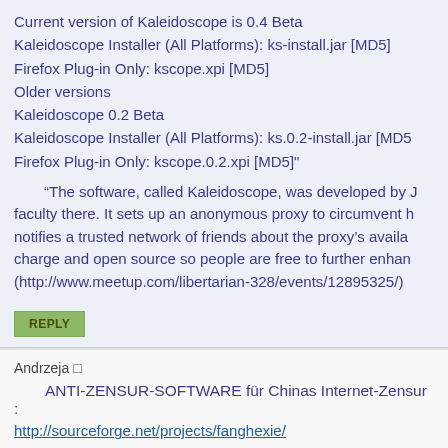Current version of Kaleidoscope is 0.4 Beta
Kaleidoscope Installer (All Platforms): ks-install.jar [MD5]
Firefox Plug-in Only: kscope.xpi [MD5]
Older versions
Kaleidoscope 0.2 Beta
Kaleidoscope Installer (All Platforms): ks.0.2-install.jar [MD5]
Firefox Plug-in Only: kscope.0.2.xpi [MD5]"
“The software, called Kaleidoscope, was developed by J faculty there. It sets up an anonymous proxy to circumvent b notifies a trusted network of friends about the proxy’s availa charge and open source so people are free to further enhan (http://www.meetup.com/libertarian-328/events/12895325/)
Andrzeja □
ANTI-ZENSUR-SOFTWARE für Chinas Internet-Zensur :
http://sourceforge.net/projects/fanghexie/